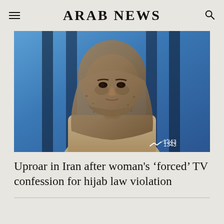ARAB NEWS
[Figure (photo): A woman wearing a hijab seated against a blue background with dark vertical panels, appearing in a television setting. A view count of 1343 is shown in the bottom right corner.]
Uproar in Iran after woman's ‘forced’ TV confession for hijab law violation